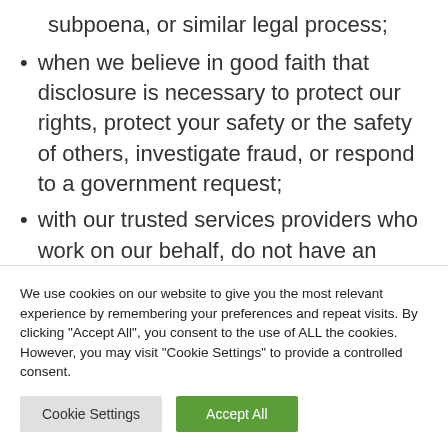subpoena, or similar legal process;
when we believe in good faith that disclosure is necessary to protect our rights, protect your safety or the safety of others, investigate fraud, or respond to a government request;
with our trusted services providers who work on our behalf, do not have an independent use of the information we disclose to them, and have agreed to
We use cookies on our website to give you the most relevant experience by remembering your preferences and repeat visits. By clicking "Accept All", you consent to the use of ALL the cookies. However, you may visit "Cookie Settings" to provide a controlled consent.